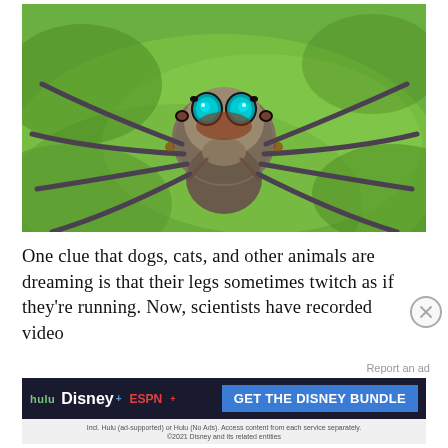[Figure (photo): Close-up macro photograph of a jumping spider facing the camera. The spider has striking large teal/green eyes, a brown and grey fuzzy body, and dark grey legs spread wide. It is resting on a bright green leaf surface.]
One clue that dogs, cats, and other animals are dreaming is that their legs sometimes twitch as if they're running. Now, scientists have recorded video
Report an ad
[Figure (screenshot): Advertisement banner for the Disney Bundle featuring Hulu, Disney+, and ESPN+ logos with a blue 'GET THE DISNEY BUNDLE' call-to-action button. Fine print reads: Incl. Hulu (ad-supported) or Hulu (No Ads). Access content from each service separately. ©2021 Disney and its related entities]